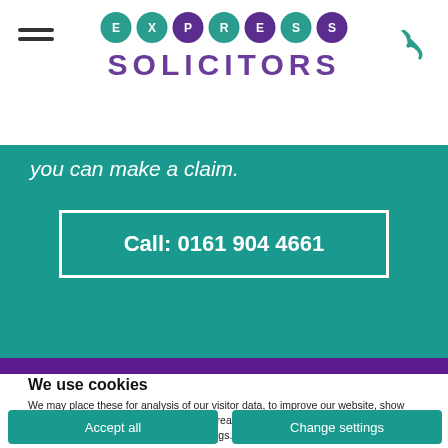Express Solicitors logo and navigation
you can make a claim.
Call: 0161 904 4661
We use cookies
We may place these for analysis of our visitor data, to improve our website, show personalised content and to give you a great website experience. For more information about the cookies we use open the settings.
Accept all
Change settings